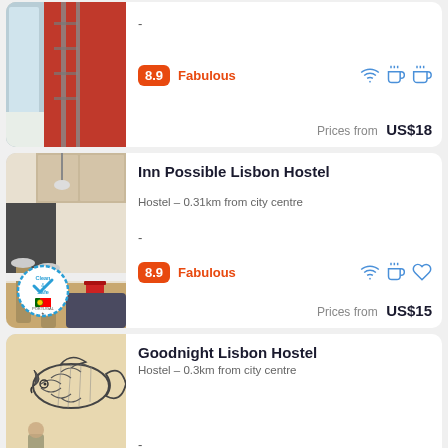[Figure (photo): Hotel room photo with red curtains and bunk bed ladder, partially visible at top of page]
-
8.9 Fabulous
Prices from US$18
[Figure (photo): Hostel common area with bar stools and kitchen area, with Clean & Safe badge overlay]
Inn Possible Lisbon Hostel
Hostel – 0.31km from city centre
-
8.9 Fabulous
Prices from US$15
[Figure (photo): Artistic fish illustration on wall of hostel]
Goodnight Lisbon Hostel
Hostel – 0.3km from city centre
-